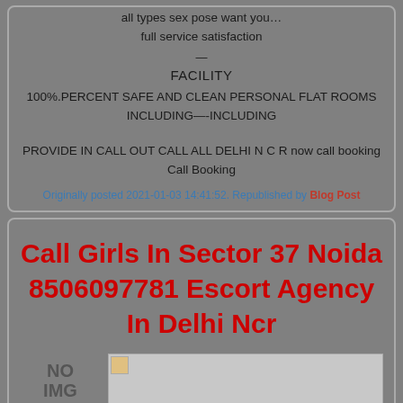all types sex pose want you…
full service satisfaction
—
FACILITY
100%.PERCENT SAFE AND CLEAN PERSONAL FLAT ROOMS INCLUDING—-INCLUDING
PROVIDE IN CALL OUT CALL ALL DELHI N C R now call booking Call Booking
Originally posted 2021-01-03 14:41:52. Republished by Blog Post
Call Girls In Sector 37 Noida 8506097781 Escort Agency In Delhi Ncr
[Figure (photo): NO IMG placeholder with a small image box to the right]